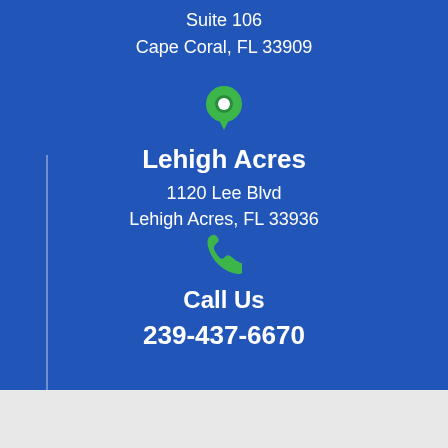Suite 106
Cape Coral, FL 33909
[Figure (illustration): Green map pin / location marker icon]
Lehigh Acres
1120 Lee Blvd
Lehigh Acres, FL 33936
[Figure (illustration): Green phone handset icon]
Call Us
239-437-6670